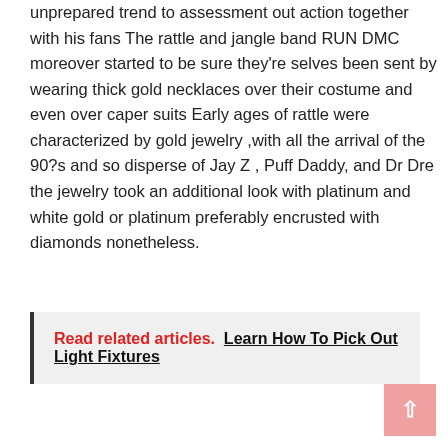unprepared trend to assessment out action together with his fans The rattle and jangle band RUN DMC moreover started to be sure they're selves been sent by wearing thick gold necklaces over their costume and even over caper suits Early ages of rattle were characterized by gold jewelry ,with all the arrival of the 90?s and so disperse of Jay Z , Puff Daddy, and Dr Dre the jewelry took an additional look with platinum and white gold or platinum preferably encrusted with diamonds nonetheless.
Read related articles.  Learn How To Pick Out Light Fixtures